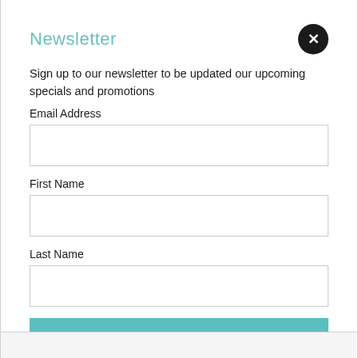Newsletter
Sign up to our newsletter to be updated our upcoming specials and promotions
Email Address
First Name
Last Name
Submit